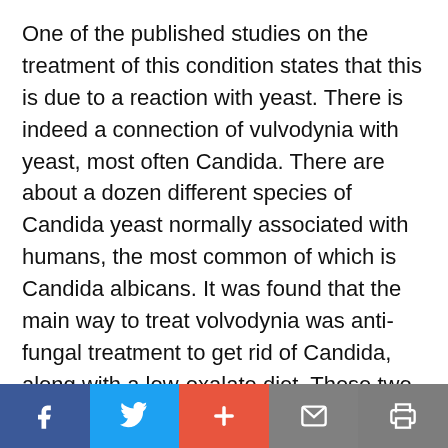One of the published studies on the treatment of this condition states that this is due to a reaction with yeast. There is indeed a connection of vulvodynia with yeast, most often Candida. There are about a dozen different species of Candida yeast normally associated with humans, the most common of which is Candida albicans. It was found that the main way to treat volvodynia was anti-fungal treatment to get rid of Candida, along with a low-oxalate diet. These two approaches have been very effective in correcting this condition.
Social sharing bar: Facebook, Twitter, Plus, Mail, Print